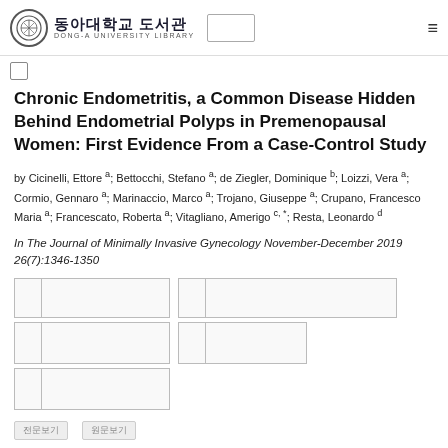동아대학교 도서관 DONG-A UNIVERSITY LIBRARY
Chronic Endometritis, a Common Disease Hidden Behind Endometrial Polyps in Premenopausal Women: First Evidence From a Case-Control Study
by Cicinelli, Ettore a; Bettocchi, Stefano a; de Ziegler, Dominique b; Loizzi, Vera a; Cormio, Gennaro a; Marinaccio, Marco a; Trojano, Giuseppe a; Crupano, Francesco Maria a; Francescato, Roberta a; Vitagliano, Amerigo c, *; Resta, Leonardo d
In The Journal of Minimally Invasive Gynecology November-December 2019 26(7):1346-1350
|  |  |  |  |
|  |  |  |  |
|  |  |
전문보기   원문보기